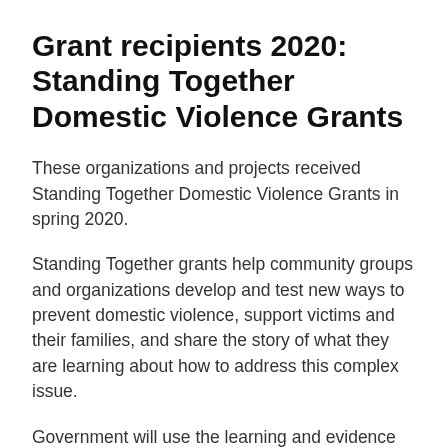Grant recipients 2020: Standing Together Domestic Violence Grants
These organizations and projects received Standing Together Domestic Violence Grants in spring 2020.
Standing Together grants help community groups and organizations develop and test new ways to prevent domestic violence, support victims and their families, and share the story of what they are learning about how to address this complex issue.
Government will use the learning and evidence gathered from these projects to inform the best plan for ending the cycle of domestic violence in Nova Scotia.